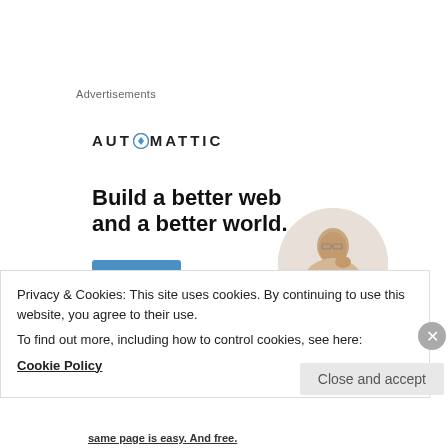Advertisements
[Figure (logo): Automattic logo with compass icon and text 'AUTOMATTIC' in spaced capital letters]
Build a better web and a better world.
[Figure (photo): Person thinking with hand on chin, circular cropped photo on right side of ad]
Apply
Privacy & Cookies: This site uses cookies. By continuing to use this website, you agree to their use.
To find out more, including how to control cookies, see here:
Cookie Policy
Close and accept
same page is easy. And free.